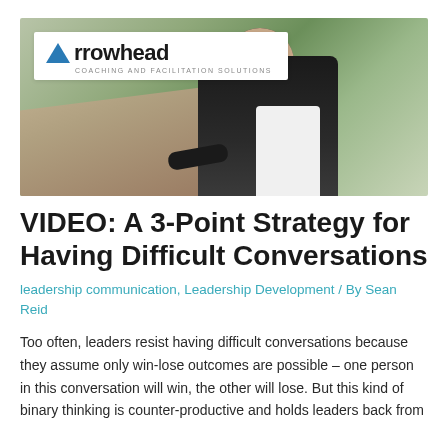[Figure (photo): Hero banner photo of a middle-aged man in a dark blazer sitting at or leaning on a wooden bench outdoors. An Arrowhead Coaching and Facilitation Solutions logo appears in the upper-left corner of the image on a white background.]
VIDEO: A 3-Point Strategy for Having Difficult Conversations
leadership communication, Leadership Development / By Sean Reid
Too often, leaders resist having difficult conversations because they assume only win-lose outcomes are possible – one person in this conversation will win, the other will lose. But this kind of binary thinking is counter-productive and holds leaders back from